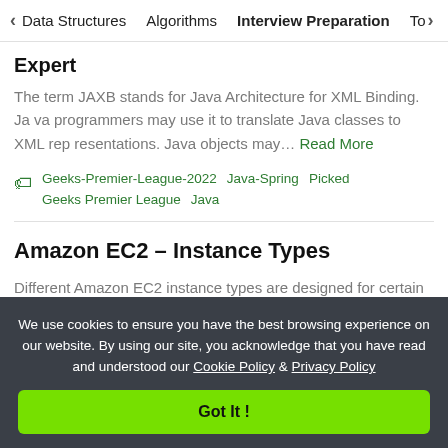< Data Structures   Algorithms   Interview Preparation   To>
Expert
The term JAXB stands for Java Architecture for XML Binding. Java programmers may use it to translate Java classes to XML representations. Java objects may... Read More
Geeks-Premier-League-2022   Java-Spring   Picked   Geeks Premier League   Java
Amazon EC2 – Instance Types
Different Amazon EC2 instance types are designed for certain activities. Consider the unique requirements of your workloads a
We use cookies to ensure you have the best browsing experience on our website. By using our site, you acknowledge that you have read and understood our Cookie Policy & Privacy Policy
Got It !